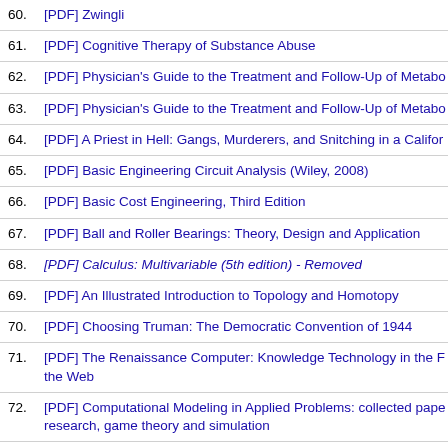60. [PDF] Zwingli
61. [PDF] Cognitive Therapy of Substance Abuse
62. [PDF] Physician's Guide to the Treatment and Follow-Up of Metabo
63. [PDF] Physician's Guide to the Treatment and Follow-Up of Metabo
64. [PDF] A Priest in Hell: Gangs, Murderers, and Snitching in a Califor
65. [PDF] Basic Engineering Circuit Analysis (Wiley, 2008)
66. [PDF] Basic Cost Engineering, Third Edition
67. [PDF] Ball and Roller Bearings: Theory, Design and Application
68. [PDF] Calculus: Multivariable (5th edition) - Removed
69. [PDF] An Illustrated Introduction to Topology and Homotopy
70. [PDF] Choosing Truman: The Democratic Convention of 1944
71. [PDF] The Renaissance Computer: Knowledge Technology in the F the Web
72. [PDF] Computational Modeling in Applied Problems: collected pape research, game theory and simulation
73. [PDF] Minimax Theorems (Progress in Nonlinear Differential Equat Removed
74. [PDF] Saqqaq: An Inuit Hunting Community in the Modern World
75. [PDF] Kyoto: An Urban History of Japan's Premodern Capital (Spac Asia's Architecture)